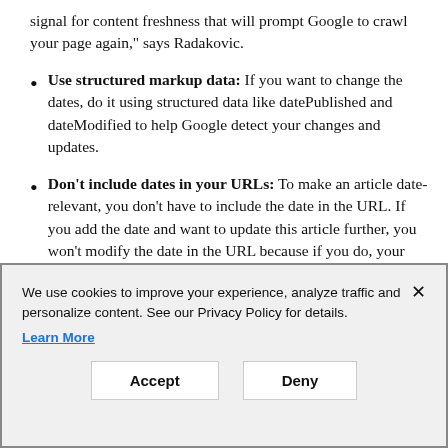signal for content freshness that will prompt Google to crawl your page again," says Radakovic.
Use structured markup data: If you want to change the dates, do it using structured data like datePublished and dateModified to help Google detect your changes and updates.
Don't include dates in your URLs: To make an article date-relevant, you don't have to include the date in the URL. If you add the date and want to update this article further, you won't modify the date in the URL because if you do, your visitors will get a 301 redirection and lose the backlinks to that
We use cookies to improve your experience, analyze traffic and personalize content. See our Privacy Policy for details. Learn More
Accept
Deny